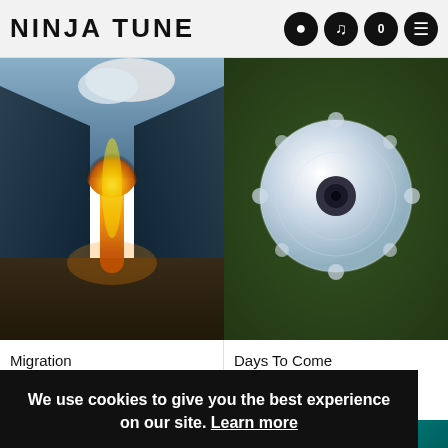NINJA TUNE
[Figure (photo): Album art for Migration by Bonobo — dark canyon landscape with a bright orange flame/explosion rising from the ground]
Migration
Bonobo
[Figure (photo): Album art for Days To Come by Bonobo — white mechanical disc/gear object on green grass background]
Days To Come
Bonobo
We use cookies to give you the best experience on our site. Learn more
No thanks
Ok